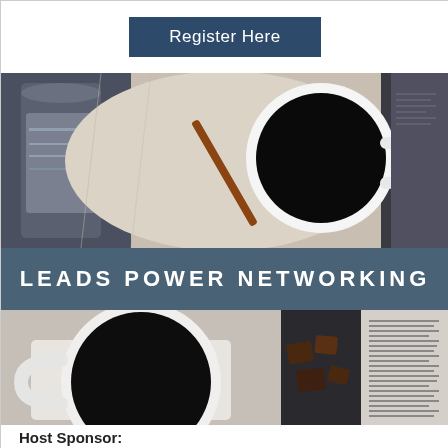Register Here
[Figure (photo): Overhead view of coffee in white mug, cinnamon stick, and metal coffee press on linen cloth - dark moody tones]
LEADS POWER NETWORKING
[Figure (photo): Overhead view of black coffee in white mug, chocolate pieces, and open newspaper on dark surface]
Host Sponsor: